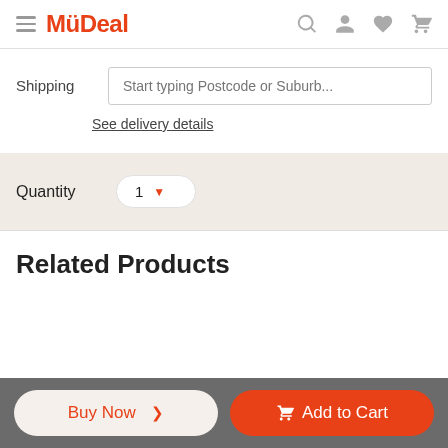MyDeal
Shipping  Start typing Postcode or Suburb...
See delivery details
Quantity  1
Related Products
Buy Now >   Add to Cart